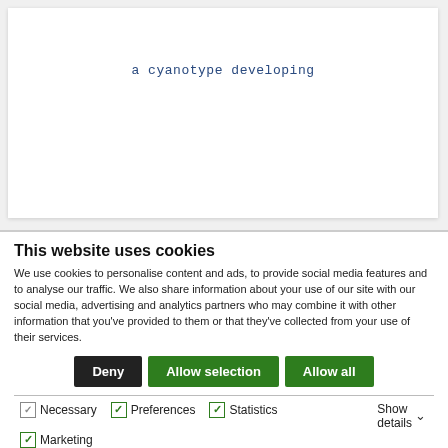a cyanotype developing
This website uses cookies
We use cookies to personalise content and ads, to provide social media features and to analyse our traffic. We also share information about your use of our site with our social media, advertising and analytics partners who may combine it with other information that you’ve provided to them or that they’ve collected from your use of their services.
Deny | Allow selection | Allow all
Necessary  Preferences  Statistics  Marketing  Show details